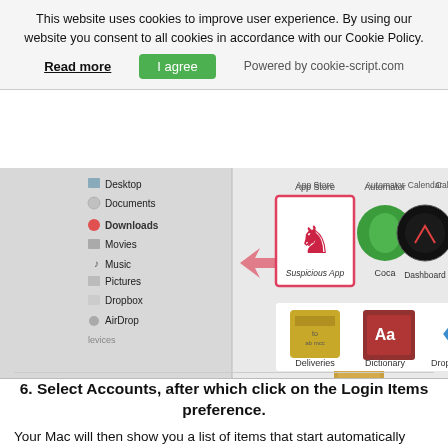This website uses cookies to improve user experience. By using our website you consent to all cookies in accordance with our Cookie Policy.
Read more   I agree   Powered by cookie-script.com
[Figure (screenshot): macOS Finder window showing app icons including Suspicious App (highlighted with pink border and arrow), Coca, Contacts, Dashboard, Deliveries, Dictionary, Dropbox, DVD Player. Left sidebar shows Desktop, Documents, Downloads, Movies, Music, Pictures, Dropbox, AirDrop, Devices.]
6. Select Accounts, after which click on the Login Items preference.
Your Mac will then show you a list of items that start automatically when you log in. Look for any suspicious apps identical or similar to KKK Virus. Check the app you want to stop from running automatically and then select on the Minus ("-")